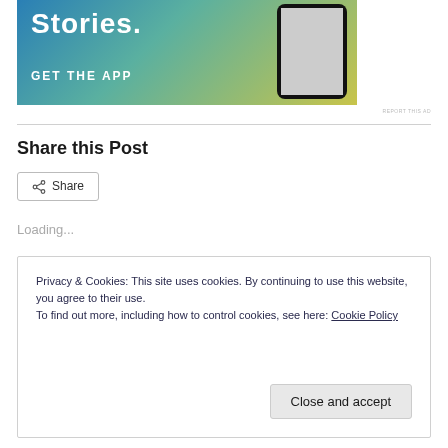[Figure (screenshot): App advertisement banner with gradient blue-teal-yellow background, text 'Stories.' and 'GET THE APP', with phone mockup on the right]
REPORT THIS AD
Share this Post
Share
Loading...
Privacy & Cookies: This site uses cookies. By continuing to use this website, you agree to their use.
To find out more, including how to control cookies, see here: Cookie Policy
Close and accept